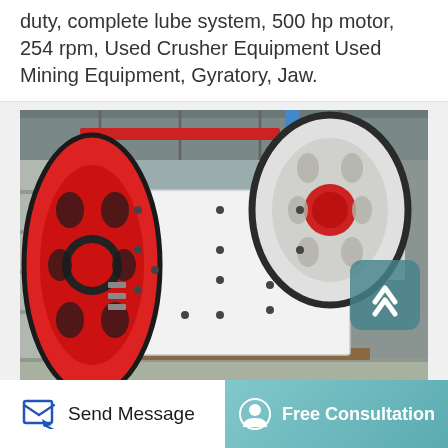duty, complete lube system, 500 hp motor, 254 rpm, Used Crusher Equipment Used Mining Equipment, Gyratory, Jaw.
[Figure (photo): Industrial jaw crusher machine in factory/warehouse setting. Large white metal machine body with two large flywheels — one on the left painted red, and one on the right painted white/grey with a red center hub. Multiple black bolts visible on the machine body. Industrial ceiling structure and other machinery visible in background.]
[Figure (other): Scroll-to-top button overlay on the image — teal/dark cyan rounded square with upward-pointing chevron arrow icon]
Send Message
Free Consultation